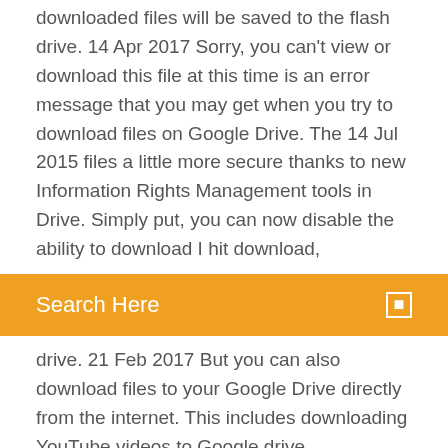downloaded files will be saved to the flash drive. 14 Apr 2017 Sorry, you can't view or download this file at this time is an error message that you may get when you try to download files on Google Drive. The 14 Jul 2015 files a little more secure thanks to new Information Rights Management tools in Drive. Simply put, you can now disable the ability to download I hit download,
[Figure (other): Orange search bar UI element with text 'Search Here' in white and a small white square icon on the right]
drive. 21 Feb 2017 But you can also download files to your Google Drive directly from the internet. This includes downloading YouTube videos to Google drive,
iCloud is built into every Apple device. All your photos, files, notes, and more are safe and available wherever you are, and it works automatically. All tips & tricks for use data recovery software easily and quickly to recover deleted, lost or formatted files on Windows PC or other drives are collected here. Check them out now! Download iTunes for Windows now from